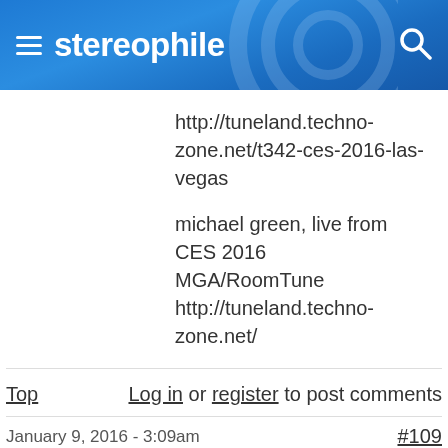stereophile
http://tuneland.techno-zone.net/t342-ces-2016-las-vegas
michael green, live from CES 2016
MGA/RoomTune
http://tuneland.techno-zone.net/
Top
Log in or register to post comments
January 9, 2016 - 3:09am
#109
geoffkait
Stand up guy